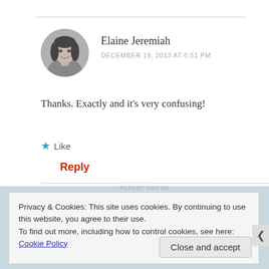[Figure (photo): Circular avatar photo of a woman with dark hair, smiling, in black and white]
Elaine Jeremiah
DECEMBER 19, 2013 AT 6:51 PM
Thanks. Exactly and it's very confusing!
★ Like
Reply
REPORT THIS AD
Privacy & Cookies: This site uses cookies. By continuing to use this website, you agree to their use.
To find out more, including how to control cookies, see here: Cookie Policy
Close and accept